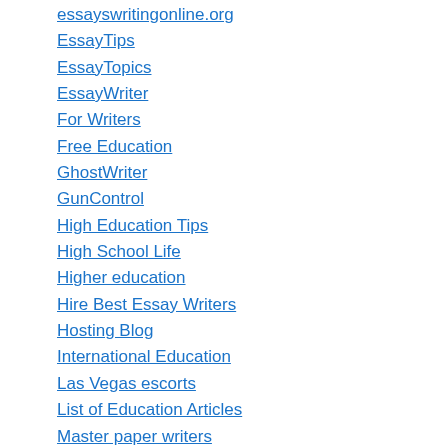essayswritingonline.org
EssayTips
EssayTopics
EssayWriter
For Writers
Free Education
GhostWriter
GunControl
High Education Tips
High School Life
Higher education
Hire Best Essay Writers
Hosting Blog
International Education
Las Vegas escorts
List of Education Articles
Master paper writers
MLA citation machine